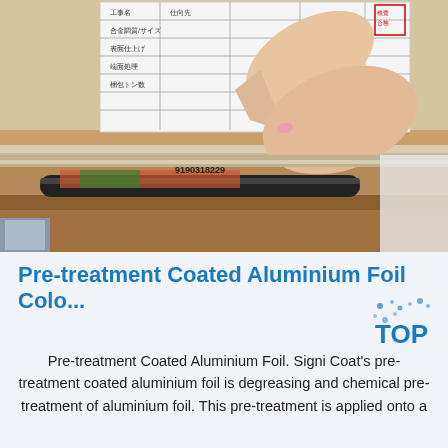[Figure (photo): A hand pointing at a Japanese-text label/specification sheet on what appears to be aluminium foil rolls stacked in a wooden frame. A black cylindrical roller and foil are visible below the hand. A barcode/serial number '9190318229' is visible on the foil.]
Pre-treatment Coated Aluminium Foil Colo...
Pre-treatment Coated Aluminium Foil. Signi Coat's pre-treatment coated aluminium foil is degreasing and chemical pre-treatment of aluminium foil. This pre-treatment is applied onto a